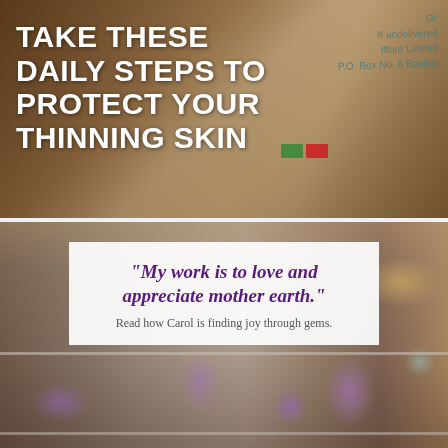[Figure (photo): Top half: a brown paper package/envelope with text 'If undelivered, Ilford Limited, P.O. Box No. 8 Basildon' visible in the top right corner, with a green and red color sticker/label. Dark brown wooden surface visible underneath.]
TAKE THESE DAILY STEPS TO PROTECT YOUR THINNING SKIN
[Figure (photo): Bottom half: a gem and crystal shop display with shelves full of amethyst crystals, purple crystal points, spheres, and other mineral specimens in purple, white, and earth tones.]
“My work is to love and appreciate mother earth.”
Read how Carol is finding joy through gems.